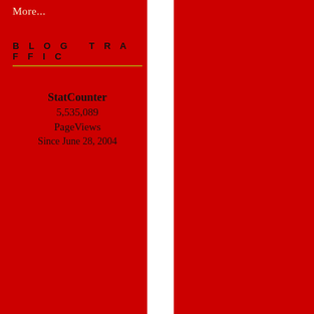More...
BLOG TRAFFIC
StatCounter 5,535,089 PageViews Since June 28, 2004